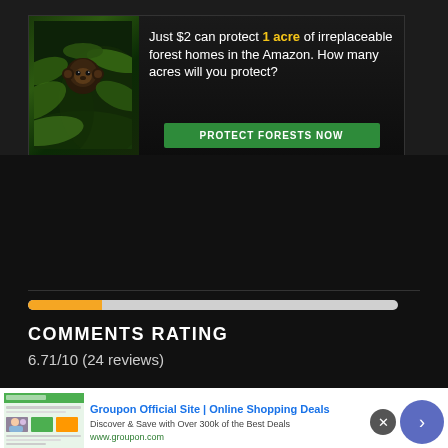[Figure (screenshot): Advertisement banner: dark background with forest/monkey imagery on left, text on right reading 'Just $2 can protect 1 acre of irreplaceable forest homes in the Amazon. How many acres will you protect?' with a green 'PROTECT FORESTS NOW' button]
[Figure (screenshot): Dark content area with a progress bar (orange fill ~20%, rest light gray), heading 'COMMENTS RATING', and score '6.71/10 (24 reviews)']
[Figure (screenshot): Bottom advertisement: Groupon Official Site | Online Shopping Deals. 'Discover & Save with Over 300k of the Best Deals'. www.groupon.com. With X close button and blue navigation arrow button.]